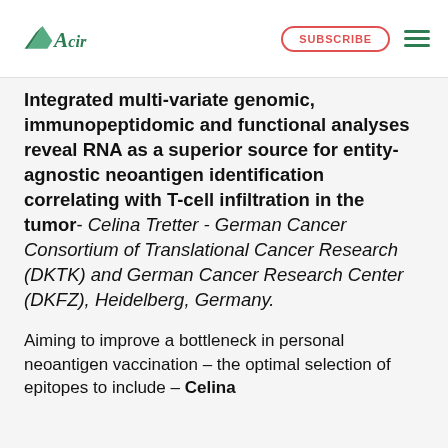ACIR | SUBSCRIBE
Integrated multi-variate genomic, immunopeptidomic and functional analyses reveal RNA as a superior source for entity-agnostic neoantigen identification correlating with T-cell infiltration in the tumor- Celina Tretter - German Cancer Consortium of Translational Cancer Research (DKTK) and German Cancer Research Center (DKFZ), Heidelberg, Germany.
Aiming to improve a bottleneck in personal neoantigen vaccination – the optimal selection of epitopes to include – Celina